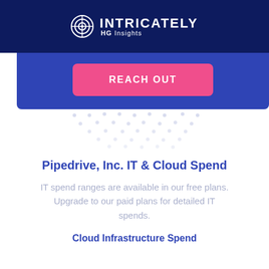INTRICATELY HG Insights
[Figure (other): Blue banner section with a pink/hot-pink REACH OUT button and decorative dot pattern below]
Pipedrive, Inc. IT & Cloud Spend
IT spend ranges are available in our free plans. Upgrade to our paid plans for detailed IT spends.
Cloud Infrastructure Spend